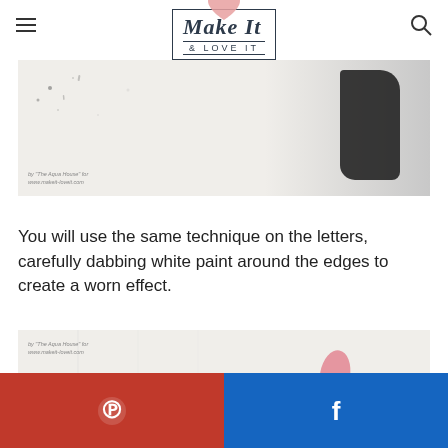Make It & Love It
[Figure (photo): Close-up of white surface with black paint splotch being applied, with watermark 'by "The Aqua House" for www.makeit-loveit.com']
You will use the same technique on the letters, carefully dabbing white paint around the edges to create a worn effect.
[Figure (photo): Close-up of a white fabric with large black block letters 'SUP' visible, a pink/red paint smear, and a dark circular tool, with watermark 'by "The Aqua House" for www.makeit-loveit.com']
[Figure (infographic): Pinterest and Facebook share buttons at the bottom of the page]